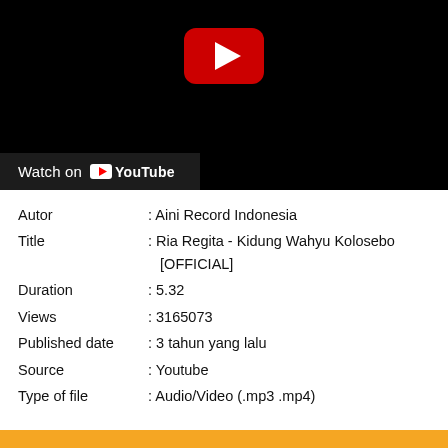[Figure (screenshot): YouTube video thumbnail showing black background with red YouTube play button in upper right area, and a 'Watch on YouTube' bar at the bottom left]
| Autor | : Aini Record Indonesia |
| Title | : Ria Regita - Kidung Wahyu Kolosebo [OFFICIAL] |
| Duration | : 5.32 |
| Views | : 3165073 |
| Published date | : 3 tahun yang lalu |
| Source | : Youtube |
| Type of file | : Audio/Video (.mp3 .mp4) |
Description of video: Artist : Ria Regita Title : Kidung Wahyu Kolosebo Songwriter : Sri Narendra Kolosebo Album : THE ROSTA VOL 24 Label : AINI ...